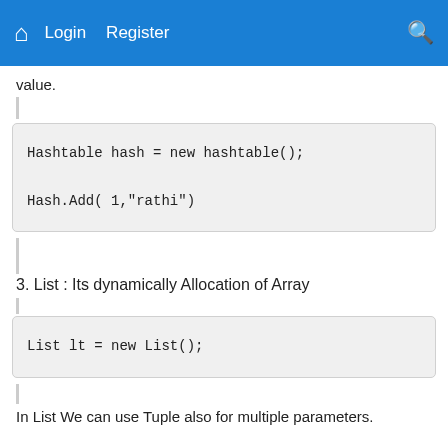Home Login Register Search
value.
Hashtable  hash = new hashtable();

Hash.Add( 1,"rathi")
3. List : Its dynamically Allocation of Array
List lt = new List();
In List We can use Tuple also for multiple parameters.